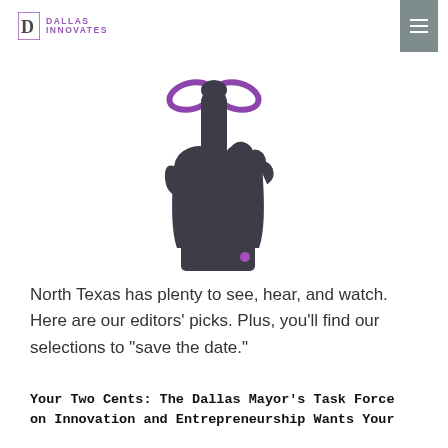DALLAS INNOVATES
[Figure (illustration): Icon of a pointing hand/finger with a purple ribbon tied around the index finger, suggesting a reminder. The hand is dark gray/charcoal colored and the ribbon is purple.]
North Texas has plenty to see, hear, and watch. Here are our editors' picks. Plus, you'll find our selections to "save the date."
Your Two Cents: The Dallas Mayor's Task Force on Innovation and Entrepreneurship Wants Your Feedback